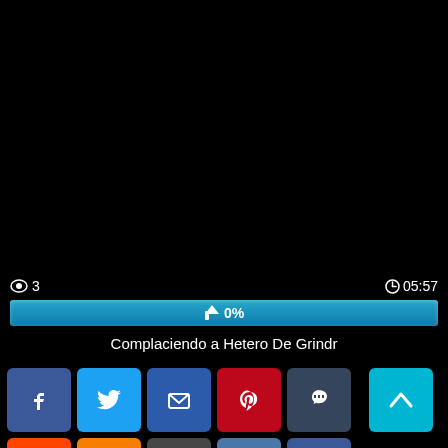[Figure (screenshot): Black video player area]
👁 3
⏱05:57
[Figure (infographic): Blue progress bar showing 👍 0%]
Complaciendo a Hetero De Grindr
[Figure (infographic): Social sharing icons: Facebook, Twitter, Email, Pinterest, Tumblr, Reddit, Blogger, WordPress, VK, More]
[Figure (infographic): Scroll to top button (teal arrow up)]